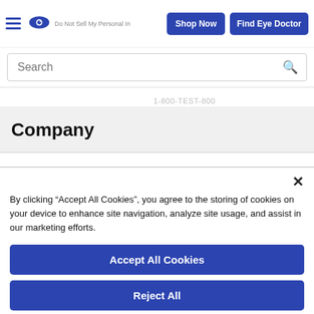Shop Now | Find Eye Doctor | [hamburger menu] [eye logo] Do Not Sell My Personal In...
Search
Company
By clicking “Accept All Cookies”, you agree to the storing of cookies on your device to enhance site navigation, analyze site usage, and assist in our marketing efforts.
Accept All Cookies
Reject All
Cookies Settings